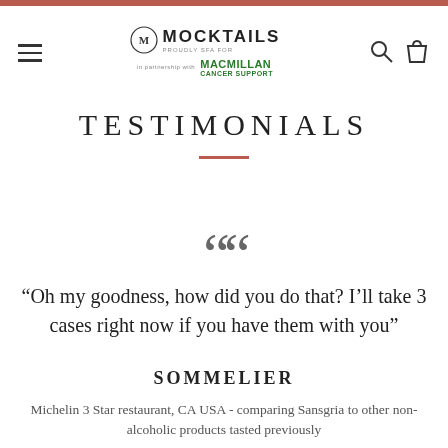MOCKTAILS — in partnership with MACMILLAN CANCER SUPPORT
TESTIMONIALS
“Oh my goodness, how did you do that? I’ll take 3 cases right now if you have them with you”
SOMMELIER
Michelin 3 Star restaurant, CA USA - comparing Sansgria to other non-alcoholic products tasted previously